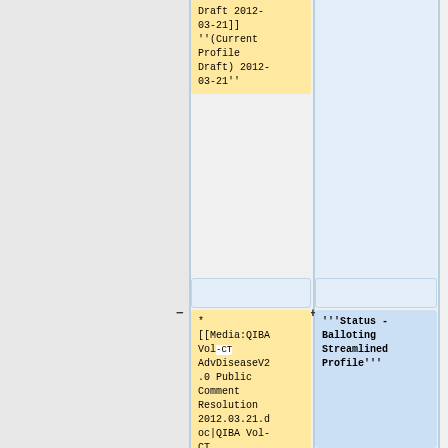Draft 2012-03-21]] ''(Current Profile Draft) 2012-03-21''
* [[Media:QIBAVol-CT AdvDiseaseV2.0 Public Comment Resolution 2012.03.21.doc|QIBA Vol-CT AdvDiseaseV2.0 Public Comment Resolution
'''Status - Balloting Streamlined Profile'''